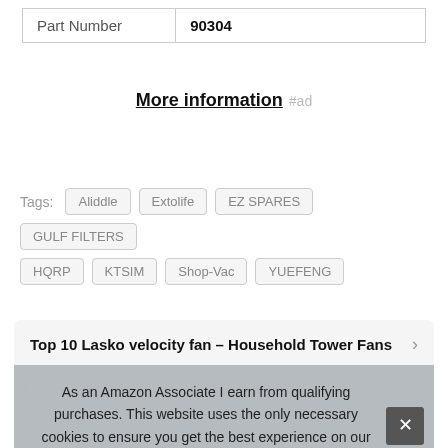| Part Number | 90304 |
More information #ad
Tags: Aliddle Extolife EZ SPARES GULF FILTERS HQRP KTSIM Shop-Vac YUEFENG
Top 10 Lasko velocity fan – Household Tower Fans
As an Amazon Associate I earn from qualifying purchases. This website uses the only necessary cookies to ensure you get the best experience on our website. More information